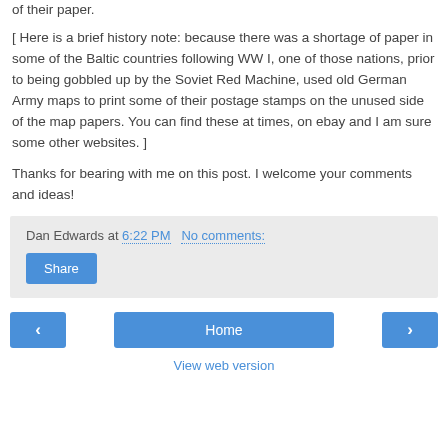of their paper.
[ Here is a brief history note: because there was a shortage of paper in some of the Baltic countries following WW I, one of those nations, prior to being gobbled up by the Soviet Red Machine, used old German Army maps to print some of their postage stamps on the unused side of the map papers. You can find these at times, on ebay and I am sure some other websites. ]
Thanks for bearing with me on this post. I welcome your comments and ideas!
Dan Edwards at 6:22 PM   No comments:
Share
‹
Home
›
View web version